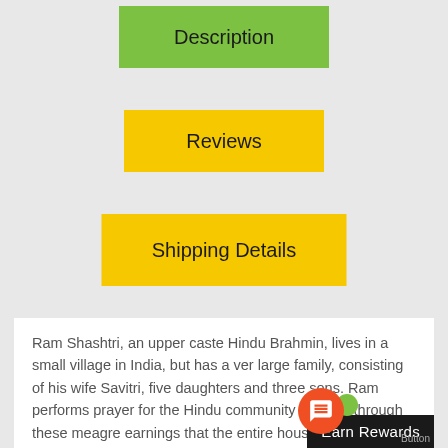Description
Reviews
Shipping Details
Ram Shashtri, an upper caste Hindu Brahmin, lives in a small village in India, but has a ver large family, consisting of his wife Savitri, five daughters and three sons. Ram performs prayer for the Hindu community and it is through these meagre earnings that the entire household survives. The eldest daughter Shalini, falls in love with Ashok, who is the son of the Village Mukhiya, Jagannath Rao. As the Raos are of a mu lower caste than the Shastris, Ashok is told by his dad th cannot marry Shalini. One day, after an ar dad, he leaves to join the army and a few